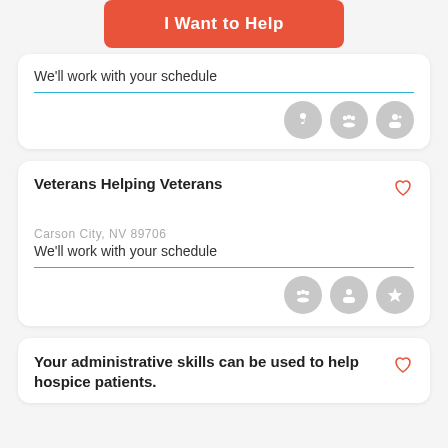I Want to Help
We'll work with your schedule
Veterans Helping Veterans
Carson City, NV 89706
We'll work with your schedule
Your administrative skills can be used to help hospice patients.